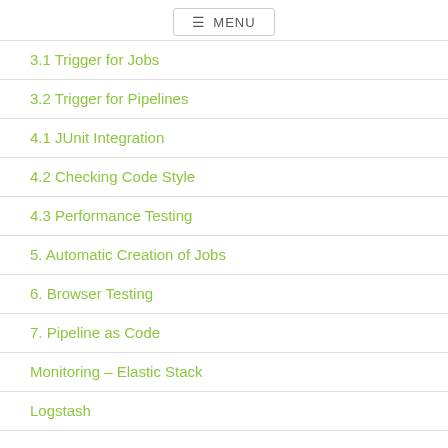MENU
3.1 Trigger for Jobs
3.2 Trigger for Pipelines
4.1 JUnit Integration
4.2 Checking Code Style
4.3 Performance Testing
5. Automatic Creation of Jobs
6. Browser Testing
7. Pipeline as Code
Monitoring – Elastic Stack
Logstash